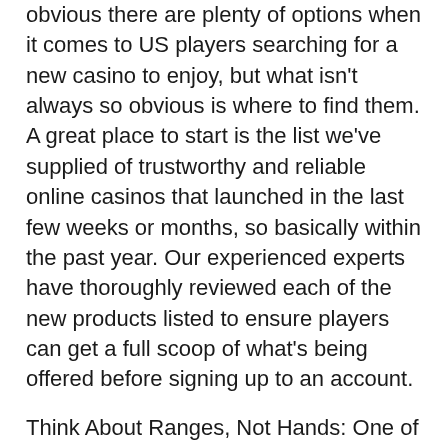obvious there are plenty of options when it comes to US players searching for a new casino to enjoy, but what isn't always so obvious is where to find them. A great place to start is the list we've supplied of trustworthy and reliable online casinos that launched in the last few weeks or months, so basically within the past year. Our experienced experts have thoroughly reviewed each of the new products listed to ensure players can get a full scoop of what's being offered before signing up to an account.
Think About Ranges, Not Hands: One of the easiest ways to spot the difference between average poker players and elite ones is by how they think about what their opponent has. Average poker players try and put somebody on a specific hand. Advanced poker players think in terms of ranges. A range is essentially the entire spectrum of hands somebody can have in a specific situation. For example, player X can have a flush, top pair, middle pair, bottom pair, a draw, ace-